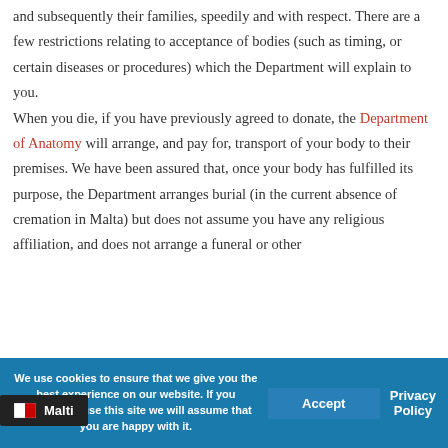and subsequently their families, speedily and with respect. There are a few restrictions relating to acceptance of bodies (such as timing, or certain diseases or procedures) which the Department will explain to you.
When you die, if you have previously agreed to donate, the Department of Anatomy will arrange, and pay for, transport of your body to their premises. We have been assured that, once your body has fulfilled its purpose, the Department arranges burial (in the current absence of cremation in Malta) but does not assume you have any religious affiliation, and does not arrange a funeral or other
We use cookies to ensure that we give you the best experience on our website. If you continue to use this site we will assume that you are happy with it.